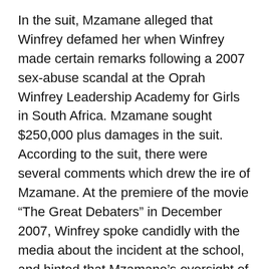In the suit, Mzamane alleged that Winfrey defamed her when Winfrey made certain remarks following a 2007 sex-abuse scandal at the Oprah Winfrey Leadership Academy for Girls in South Africa. Mzamane sought $250,000 plus damages in the suit.
According to the suit, there were several comments which drew the ire of Mzamane. At the premiere of the movie “The Great Debaters” in December 2007, Winfrey spoke candidly with the media about the incident at the school, and hinted that Mzamane’s oversight of the school might be to blame.
“I think that all crisis is there to teach you about your life,” Winfrey said, according to People